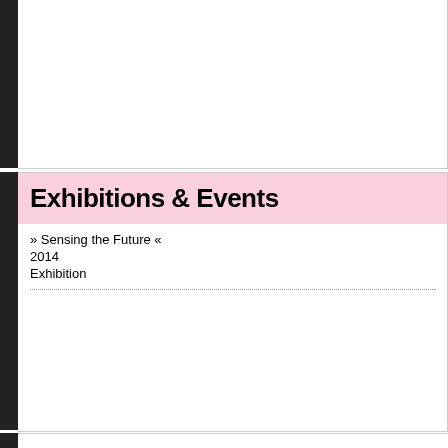Exhibitions & Events
» Sensing the Future «
2014
Exhibition